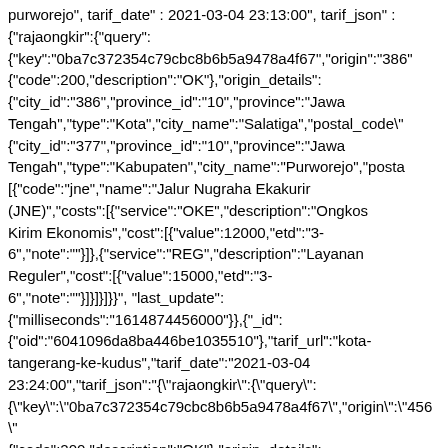purworejo", tarif_date": 2021-03-04 23:13:00", tarif_json": {"rajaongkir":{"query": {"key":"0ba7c372354c79cbc8b6b5a9478a4f67","origin":"386" {"code":200,"description":"OK"},"origin_details": {"city_id":"386","province_id":"10","province":"Jawa Tengah","type":"Kota","city_name":"Salatiga","postal_code" {"city_id":"377","province_id":"10","province":"Jawa Tengah","type":"Kabupaten","city_name":"Purworejo","posta [{"code":"jne","name":"Jalur Nugraha Ekakurir (JNE)","costs":[{"service":"OKE","description":"Ongkos Kirim Ekonomis","cost":[{"value":12000,"etd":"3-6","note":""}]},{"service":"REG","description":"Layanan Reguler","cost":[{"value":15000,"etd":"3-6","note":""}]}]}]}}","last_update": {"milliseconds":"1614874456000"}},{"_id": {"oid":"6041096da8ba446be1035510"},"tarif_url":"kota-tangerang-ke-kudus","tarif_date":"2021-03-04 23:24:00","tarif_json":"{\"rajaongkir\":{\"query\": {\"key\":\"0ba7c372354c79cbc8b6b5a9478a4f67\",\"origin\":\"456\" {"code":200,"description":"OK"},"origin_details": {"city_id":"456","province_id":"3","province":"Banten","ty {"city_id":"209","province_id":"10","province":"Jawa Tengah","type":"Kabupaten","city_name":"Kudus","postal_co [{"code":"jne","name":"Jalur Nugraha Ekakurir (JNE)","costs":[{"service":"OKE","description":"Ongkos Kirim Ekonomis","cost":[{"value":19000,"etd":"3